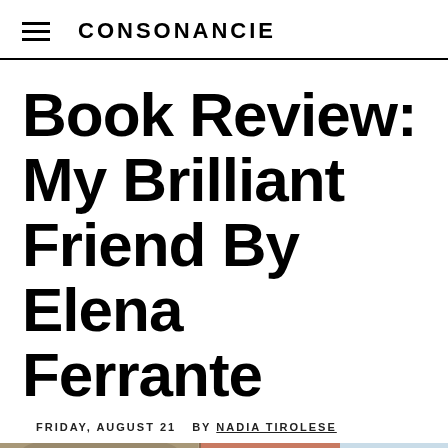CONSONANCIE
Book Review: My Brilliant Friend By Elena Ferrante
FRIDAY, AUGUST 21  BY NADIA TIROLESE
[Figure (photo): Photograph of Italian-style building facades, showing ornate architectural details with warm pink and beige tones, taken from a low angle looking up.]